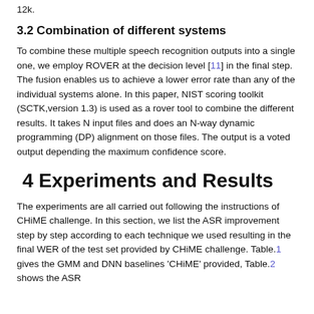12k.
3.2 Combination of different systems
To combine these multiple speech recognition outputs into a single one, we employ ROVER at the decision level [11] in the final step. The fusion enables us to achieve a lower error rate than any of the individual systems alone. In this paper, NIST scoring toolkit (SCTK,version 1.3) is used as a rover tool to combine the different results. It takes N input files and does an N-way dynamic programming (DP) alignment on those files. The output is a voted output depending the maximum confidence score.
4 Experiments and Results
The experiments are all carried out following the instructions of CHiME challenge. In this section, we list the ASR improvement step by step according to each technique we used resulting in the final WER of the test set provided by CHiME challenge. Table.1 gives the GMM and DNN baselines 'CHiME' provided, Table.2 shows the ASR